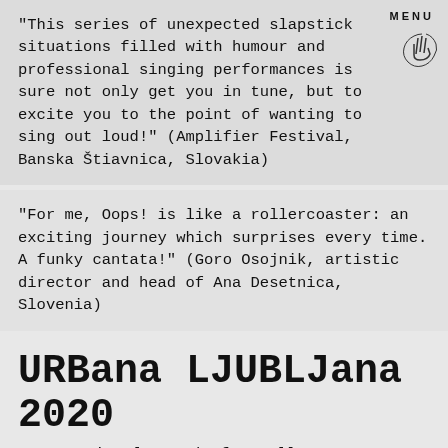MENU
“This series of unexpected slapstick situations filled with humour and professional singing performances is sure not only get you in tune, but to excite you to the point of wanting to sing out loud!” (Amplifier Festival, Banska Štiavnica, Slovakia)
“For me, Oops! is like a rollercoaster: an exciting journey which surprises every time. A funky cantata!” (Goro Osojnik, artistic director and head of Ana Desetnica, Slovenia)
URBana LJUBLJana 2020
International Award of Excellence
READ MORE